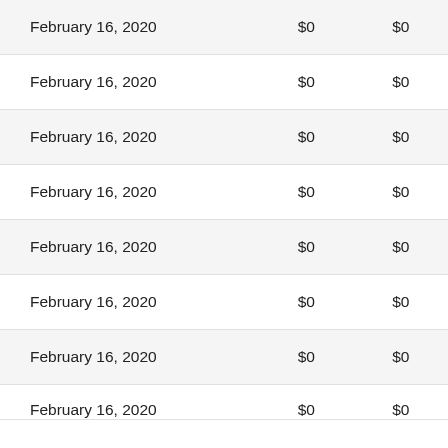| February 16, 2020 | $0 | $0 |
| February 16, 2020 | $0 | $0 |
| February 16, 2020 | $0 | $0 |
| February 16, 2020 | $0 | $0 |
| February 16, 2020 | $0 | $0 |
| February 16, 2020 | $0 | $0 |
| February 16, 2020 | $0 | $0 |
| February 16, 2020 | $0 | $0 |